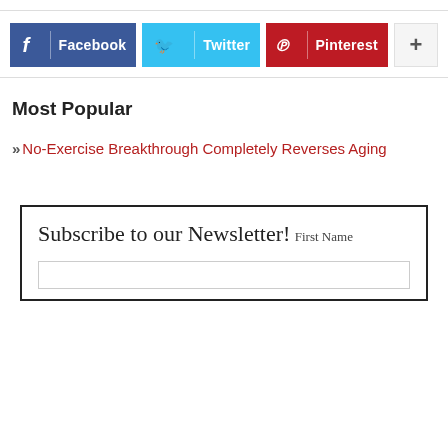[Figure (other): Social share buttons: Facebook (blue), Twitter (cyan), Pinterest (red), and a plus button]
Most Popular
» No-Exercise Breakthrough Completely Reverses Aging
Subscribe to our Newsletter!
First Name